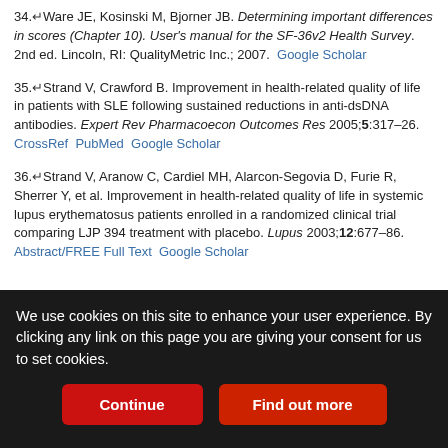34. Ware JE, Kosinski M, Bjorner JB. Determining important differences in scores (Chapter 10). User's manual for the SF-36v2 Health Survey. 2nd ed. Lincoln, RI: QualityMetric Inc.; 2007. Google Scholar
35. Strand V, Crawford B. Improvement in health-related quality of life in patients with SLE following sustained reductions in anti-dsDNA antibodies. Expert Rev Pharmacoecon Outcomes Res 2005;5:317–26. CrossRef PubMed Google Scholar
36. Strand V, Aranow C, Cardiel MH, Alarcon-Segovia D, Furie R, Sherrer Y, et al. Improvement in health-related quality of life in systemic lupus erythematosus patients enrolled in a randomized clinical trial comparing LJP 394 treatment with placebo. Lupus 2003;12:677–86. Abstract/FREE Full Text Google Scholar
We use cookies on this site to enhance your user experience. By clicking any link on this page you are giving your consent for us to set cookies.